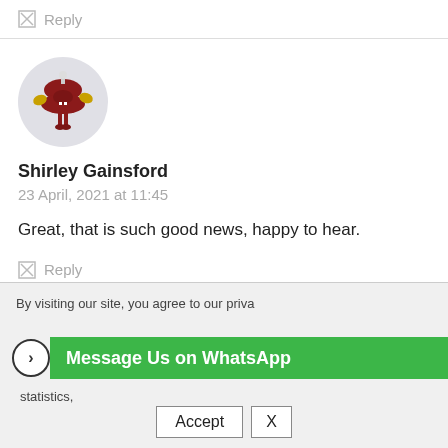Reply
[Figure (illustration): Circular avatar with a cartoon character — a dark red blob-like figure with yellow hands and legs on a light grey background]
Shirley Gainsford
23 April, 2021 at 11:45
Great, that is such good news, happy to hear.
Reply
By visiting our site, you agree to our privacy policy including cookies to improve the site and its statistics,
Message Us on WhatsApp
Accept
X